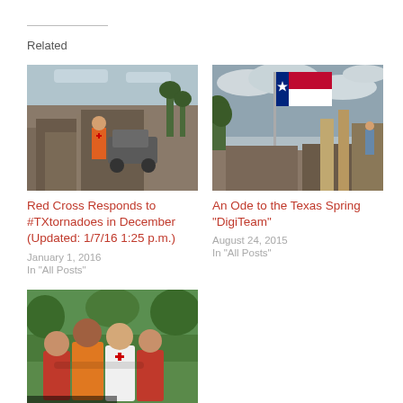Related
[Figure (photo): Red Cross worker in orange vest standing amid tornado debris and destroyed buildings]
Red Cross Responds to #TXtornadoes in December (Updated: 1/7/16 1:25 p.m.)
January 1, 2016
In "All Posts"
[Figure (photo): Texas flag on a pole waving above tornado debris and destroyed structures under cloudy sky]
An Ode to the Texas Spring “DigiTeam”
August 24, 2015
In "All Posts"
[Figure (photo): Four people posing together outdoors, wearing Red Cross and charity shirts, with ForceForTexas.com watermark]
#DidYouKnow DFW Is A